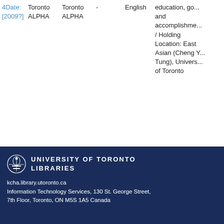| # | Publisher/Place | Place | Edition | Language | Description |
| --- | --- | --- | --- | --- | --- |
| 4 | Toronto ALPHA | Toronto ALPHA | - | English | education, go... and accomplishments / Holding Location: East Asian (Cheng Y... Tung), University of Toronto |
UNIVERSITY OF TORONTO LIBRARIES
kcha.library.utoronto.ca
Information Technology Services, 130 St. George Street, 7th Floor, Toronto, ON M5S 1A5 Canada